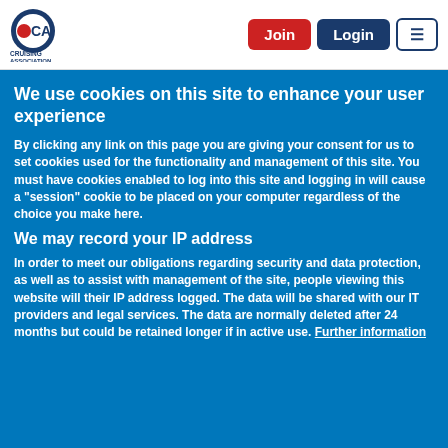[Figure (logo): Cruising Association logo with red circle, CA letters, and text CRUISING ASSOCIATION below]
Join | Login | Menu
We use cookies on this site to enhance your user experience
By clicking any link on this page you are giving your consent for us to set cookies used for the functionality and management of this site. You must have cookies enabled to log into this site and logging in will cause a "session" cookie to be placed on your computer regardless of the choice you make here.
We may record your IP address
In order to meet our obligations regarding security and data protection, as well as to assist with management of the site, people viewing this website will their IP address logged. The data will be shared with our IT providers and legal services. The data are normally deleted after 24 months but could be retained longer if in active use. Further information